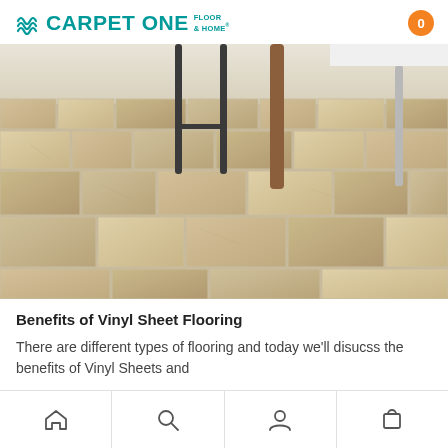Carpet One Floor & Home — 0
[Figure (photo): Photo of beige/tan stone-look vinyl tile flooring in a room with furniture legs visible — a barstool with metal frame and a wooden table leg, and a white table edge at right]
Benefits of Vinyl Sheet Flooring
There are different types of flooring and today we'll disucss the benefits of Vinyl Sheets and
Home | Search | Account | Cart